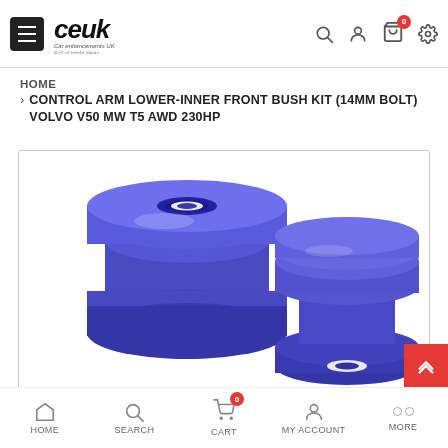CEUK Car Enhancements UK - Full of bright ideas
HOME > CONTROL ARM LOWER-INNER FRONT BUSH KIT (14MM BOLT) VOLVO V50 MW T5 AWD 230HP
[Figure (photo): Two purple polyurethane control arm bushes shown side by side on a white background. The bushes are cylindrical with flanged ends and have white inner sleeves visible.]
HOME  SEARCH  CART 0  MY ACCOUNT  MORE